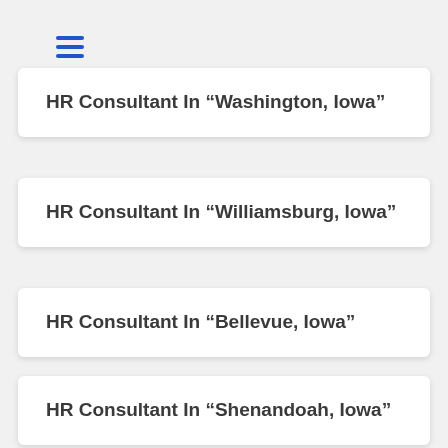≡
HR Consultant In “Washington, Iowa”
HR Consultant In “Williamsburg, Iowa”
HR Consultant In “Bellevue, Iowa”
HR Consultant In “Shenandoah, Iowa”